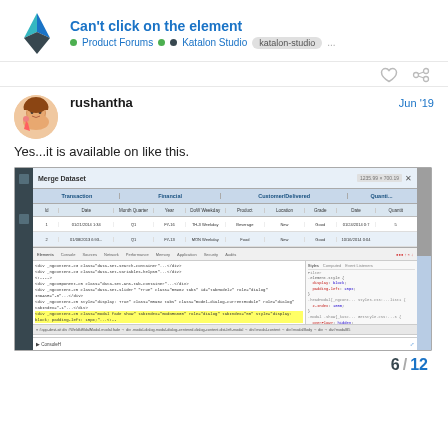Can't click on the element • Product Forums •• Katalon Studio katalon-studio ...
[Figure (screenshot): Forum post by user rushantha dated Jun '19 saying 'Yes...it is available on like this.' with a screenshot of Katalon Studio showing a Merge Dataset dialog with a data table and browser developer tools panel open below]
6 / 12